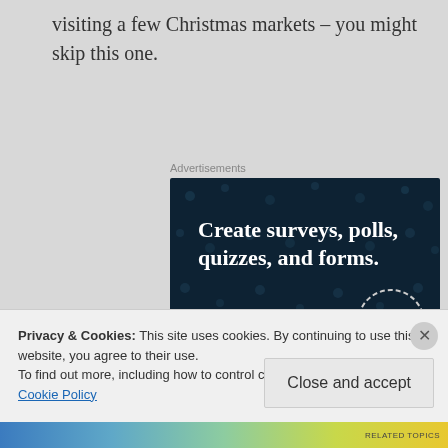visiting a few Christmas markets – you might skip this one.
Advertisements
[Figure (illustration): Advertisement banner for Crowd Signal with dark blue background showing scattered dots, bold white text reading 'Create surveys, polls, quizzes, and forms.' with a pink 'Start now' button and the CrowdSignal logo in the bottom right corner.]
Privacy & Cookies: This site uses cookies. By continuing to use this website, you agree to their use.
To find out more, including how to control cookies, see here: Our Cookie Policy
Close and accept